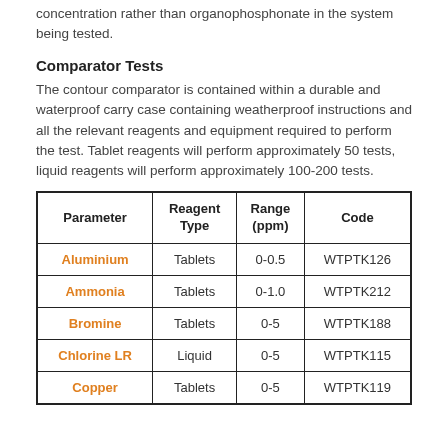concentration rather than organophosphonate in the system being tested.
Comparator Tests
The contour comparator is contained within a durable and waterproof carry case containing weatherproof instructions and all the relevant reagents and equipment required to perform the test. Tablet reagents will perform approximately 50 tests, liquid reagents will perform approximately 100-200 tests.
| Parameter | Reagent Type | Range (ppm) | Code |
| --- | --- | --- | --- |
| Aluminium | Tablets | 0-0.5 | WTPTK126 |
| Ammonia | Tablets | 0-1.0 | WTPTK212 |
| Bromine | Tablets | 0-5 | WTPTK188 |
| Chlorine LR | Liquid | 0-5 | WTPTK115 |
| Copper | Tablets | 0-5 | WTPTK119 |